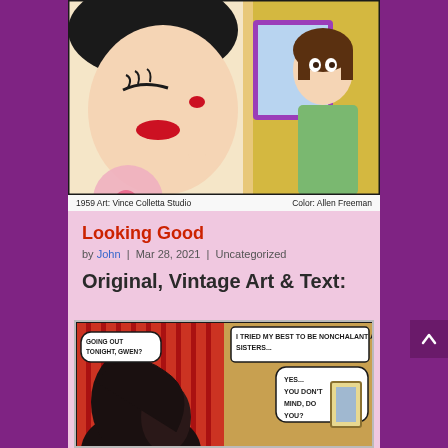[Figure (illustration): Vintage 1959 comic art colorized panel showing two women, one applying makeup/nail polish and another in background. Art by Vince Colletta Studio, Color by Allen Freeman.]
1959 Art: Vince Colletta Studio     Color: Allen Freeman
Looking Good
by John | Mar 28, 2021 | Uncategorized
Original, Vintage Art & Text:
[Figure (illustration): Black and white vintage comic panel with speech bubbles. Text reads: 'I TRIED MY BEST TO BE NONCHALANT AROUND MY SISTERS...' 'GOING OUT TONIGHT, GWEN?' 'YES... YOU DON'T MIND, DO YOU?']